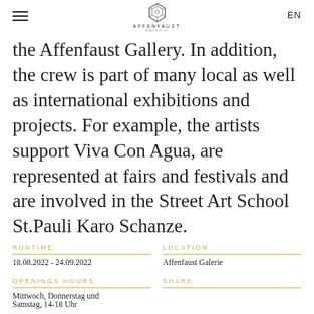AFFENFAUST GALERIE — EN
the Affenfaust Gallery. In addition, the crew is part of many local as well as international exhibitions and projects. For example, the artists support Viva Con Agua, are represented at fairs and festivals and are involved in the Street Art School St.Pauli Karo Schanze.
RUNTIME
18.08.2022 - 24.09.2022
LOCATION
Affenfaust Galerie
OPENINGS HOURS
Mittwoch, Donnerstag und Samstag, 14-18 Uhr
SHARE